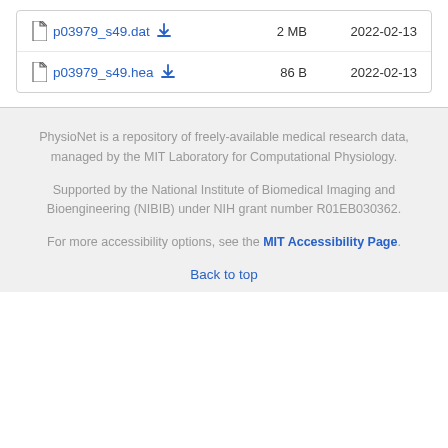| File |  | Size | Date |
| --- | --- | --- | --- |
| p03979_s49.dat | ↓ | 2 MB | 2022-02-13 |
| p03979_s49.hea | ↓ | 86 B | 2022-02-13 |
PhysioNet is a repository of freely-available medical research data, managed by the MIT Laboratory for Computational Physiology.
Supported by the National Institute of Biomedical Imaging and Bioengineering (NIBIB) under NIH grant number R01EB030362.
For more accessibility options, see the MIT Accessibility Page.
Back to top